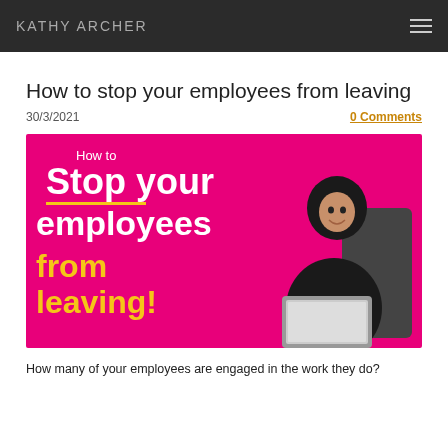KATHY ARCHER
How to stop your employees from leaving
30/3/2021
0 Comments
[Figure (illustration): Promotional blog banner with magenta/pink background. Text reads 'How to Stop your employees from leaving!' in white and yellow. A woman in a black hijab sits at a laptop on the right side.]
How many of your employees are engaged in the work they do?